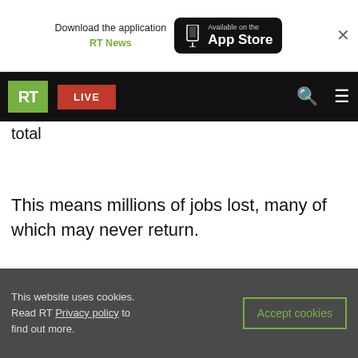Download the application RT News — Available on the App Store
RT LIVE
Global tourism has been crushed, with 2020 a total
This means millions of jobs lost, many of which may never return.
[Figure (screenshot): Black video player embed area]
READ MORE: Recession is over for the richest
This website uses cookies. Read RT Privacy policy to find out more.